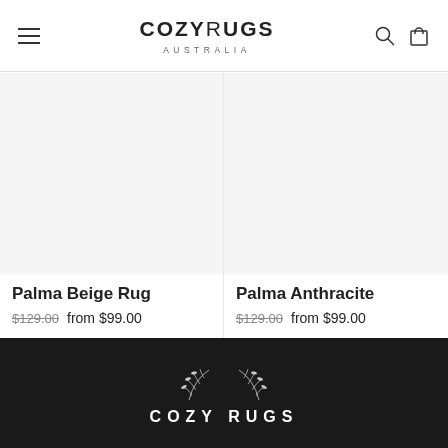CozyRugs Australia – navigation header with hamburger menu, logo, search and cart icons
Palma Beige Rug
$129.00  from $99.00
Palma Anthracite
$129.00  from $99.00
[Figure (logo): Cozy Rugs Australia logo on dark footer background with botanical wreath illustration and white text COZY RUGS]